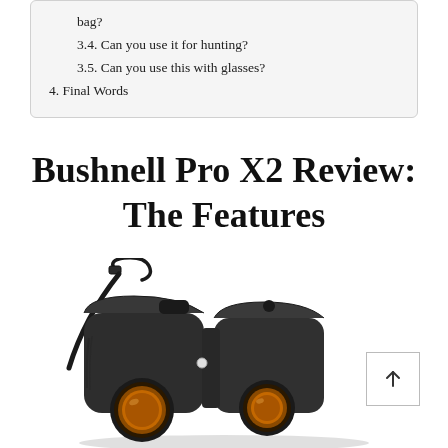bag?
3.4. Can you use it for hunting?
3.5. Can you use this with glasses?
4. Final Words
Bushnell Pro X2 Review: The Features
[Figure (photo): A Bushnell Pro X2 laser rangefinder binoculars device, dark gray/black color with a carrying strap, showing two amber-colored objective lenses, photographed on a white background.]